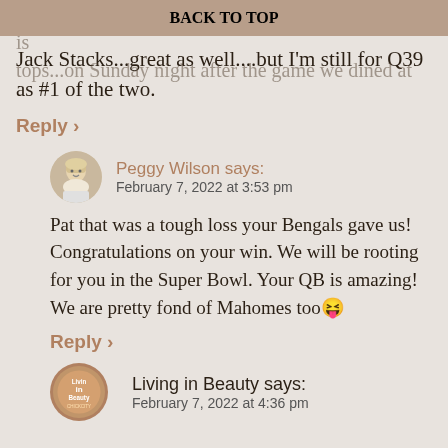though Cincinnati has good ones as well, but Q39 is tops...on Sunday night after the game we dined at Jack Stacks...great as well....but I'm still for Q39 as #1 of the two.
BACK TO TOP
Reply ›
Peggy Wilson says:
February 7, 2022 at 3:53 pm
Pat that was a tough loss your Bengals gave us! Congratulations on your win. We will be rooting for you in the Super Bowl. Your QB is amazing! We are pretty fond of Mahomes too 😜
Reply ›
Living in Beauty says:
February 7, 2022 at 4:36 pm